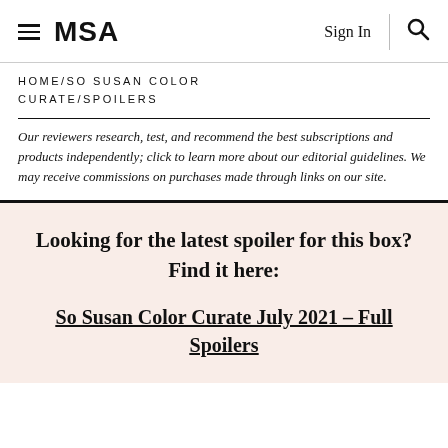MSA  Sign In  🔍
HOME/SO SUSAN COLOR CURATE/SPOILERS
Our reviewers research, test, and recommend the best subscriptions and products independently; click to learn more about our editorial guidelines. We may receive commissions on purchases made through links on our site.
Looking for the latest spoiler for this box? Find it here:
So Susan Color Curate July 2021 – Full Spoilers